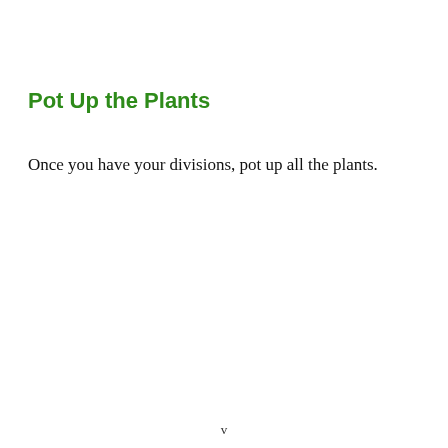Pot Up the Plants
Once you have your divisions, pot up all the plants.
v